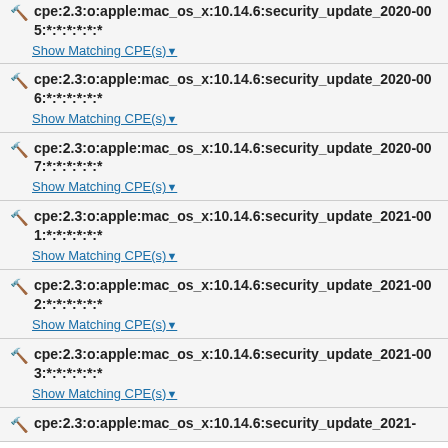cpe:2.3:o:apple:mac_os_x:10.14.6:security_update_2020-005:*:*:*:*:*:* Show Matching CPE(s)
cpe:2.3:o:apple:mac_os_x:10.14.6:security_update_2020-006:*:*:*:*:*:* Show Matching CPE(s)
cpe:2.3:o:apple:mac_os_x:10.14.6:security_update_2020-007:*:*:*:*:*:* Show Matching CPE(s)
cpe:2.3:o:apple:mac_os_x:10.14.6:security_update_2021-001:*:*:*:*:*:* Show Matching CPE(s)
cpe:2.3:o:apple:mac_os_x:10.14.6:security_update_2021-002:*:*:*:*:*:* Show Matching CPE(s)
cpe:2.3:o:apple:mac_os_x:10.14.6:security_update_2021-003:*:*:*:*:*:* Show Matching CPE(s)
cpe:2.3:o:apple:mac_os_x:10.14.6:security_update_2021-...